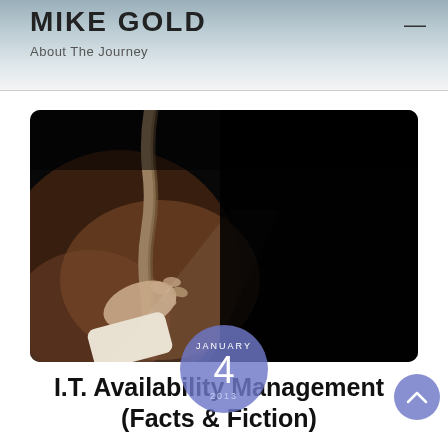MIKE GOLD — About The Journey
[Figure (photo): Dark dramatic photo of a hand reaching upward holding a rope, with moody dark background]
JANUARY 4 2013
I.T. Availability Management (Facts & Fiction)